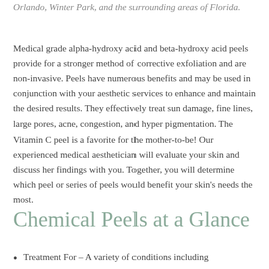Orlando, Winter Park, and the surrounding areas of Florida.
Medical grade alpha-hydroxy acid and beta-hydroxy acid peels provide for a stronger method of corrective exfoliation and are non-invasive. Peels have numerous benefits and may be used in conjunction with your aesthetic services to enhance and maintain the desired results. They effectively treat sun damage, fine lines, large pores, acne, congestion, and hyper pigmentation. The Vitamin C peel is a favorite for the mother-to-be! Our experienced medical aesthetician will evaluate your skin and discuss her findings with you. Together, you will determine which peel or series of peels would benefit your skin's needs the most.
Chemical Peels at a Glance
Treatment For – A variety of conditions including